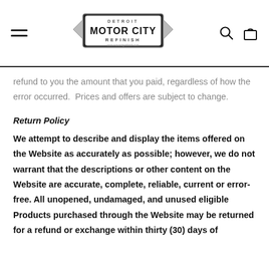DETROIT MOTOR CITY REFINISH
refund to you the amount that you paid, regardless of how the error occurred.  Prices and offers are subject to change.
Return Policy
We attempt to describe and display the items offered on the Website as accurately as possible; however, we do not warrant that the descriptions or other content on the Website are accurate, complete, reliable, current or error-free. All unopened, undamaged, and unused eligible Products purchased through the Website may be returned for a refund or exchange within thirty (30) days of